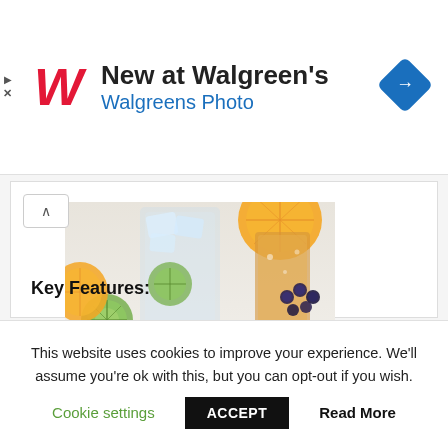[Figure (logo): Walgreens advertisement banner with red italic W logo, text 'New at Walgreen's' and 'Walgreens Photo' in blue, and a blue diamond navigation icon on the right]
[Figure (photo): A refreshing drink in a clear glass with ice, lime wedges, and blueberries on a white surface with gold spoon and sliced citrus fruits]
Key Features:
This website uses cookies to improve your experience. We'll assume you're ok with this, but you can opt-out if you wish.
Cookie settings   ACCEPT   Read More